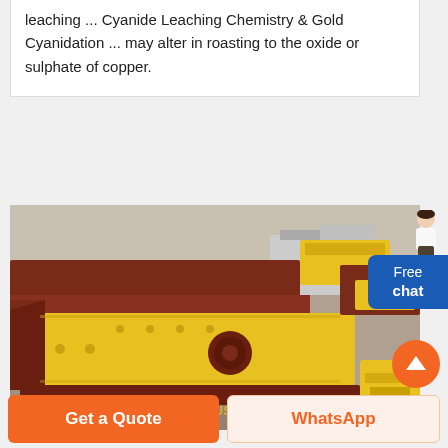leaching ... Cyanide Leaching Chemistry & Gold Cyanidation ... may alter in roasting to the oxide or sulphate of copper.
[Figure (photo): Photograph of industrial vibrating screen machines in yellow and dark red colors, stored in a factory or warehouse. The machines appear to be mineral processing or crushing equipment. A watermark reads 'CN CRUSHER' in yellow.]
Free chat
Get a Quote
WhatsApp